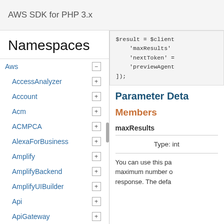AWS SDK for PHP 3.x
Namespaces
Aws
AccessAnalyzer
Account
Acm
ACMPCA
AlexaForBusiness
Amplify
AmplifyBackend
AmplifyUIBuilder
Api
ApiGateway
ApiGatewayManagementApi
$result = $client
    'maxResults'
    'nextToken' =
    'previewAgent
]);
Parameter Deta
Members
maxResults
Type: int
You can use this pa maximum number o response. The defa